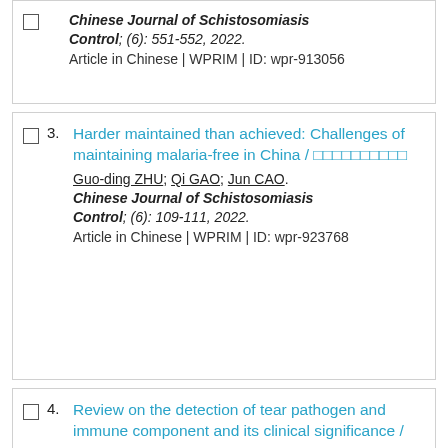Chinese Journal of Schistosomiasis Control; (6): 551-552, 2022. Article in Chinese | WPRIM | ID: wpr-913056
3. Harder maintained than achieved: Challenges of maintaining malaria-free in China / [Chinese characters]. Guo-ding ZHU; Qi GAO; Jun CAO. Chinese Journal of Schistosomiasis Control; (6): 109-111, 2022. Article in Chinese | WPRIM | ID: wpr-923768
4. Review on the detection of tear pathogen and immune component and its clinical significance / [Chinese characters]. Qi GAO; Yong TAO.